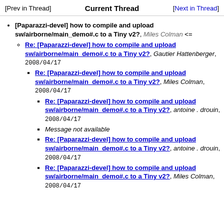[Prev in Thread]   Current Thread   [Next in Thread]
[Paparazzi-devel] how to compile and upload sw/airborne/main_demo#.c to a Tiny v2?, Miles Colman <=
Re: [Paparazzi-devel] how to compile and upload sw/airborne/main_demo#.c to a Tiny v2?, Gautier Hattenberger, 2008/04/17
Re: [Paparazzi-devel] how to compile and upload sw/airborne/main_demo#.c to a Tiny v2?, Miles Colman, 2008/04/17
Re: [Paparazzi-devel] how to compile and upload sw/airborne/main_demo#.c to a Tiny v2?, antoine . drouin, 2008/04/17
Message not available
Re: [Paparazzi-devel] how to compile and upload sw/airborne/main_demo#.c to a Tiny v2?, antoine . drouin, 2008/04/17
Re: [Paparazzi-devel] how to compile and upload sw/airborne/main_demo#.c to a Tiny v2?, Miles Colman, 2008/04/17